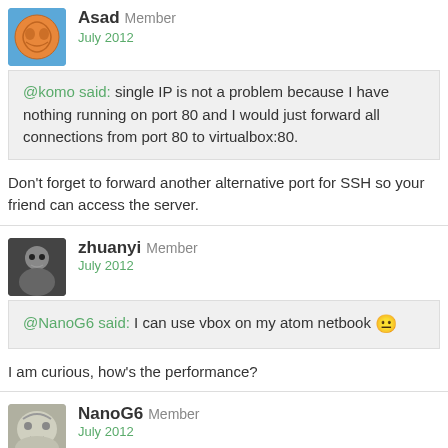Asad Member
July 2012
@komo said: single IP is not a problem because I have nothing running on port 80 and I would just forward all connections from port 80 to virtualbox:80.
Don't forget to forward another alternative port for SSH so your friend can access the server.
zhuanyi Member
July 2012
@NanoG6 said: I can use vbox on my atom netbook 😐
I am curious, how's the performance?
NanoG6 Member
July 2012